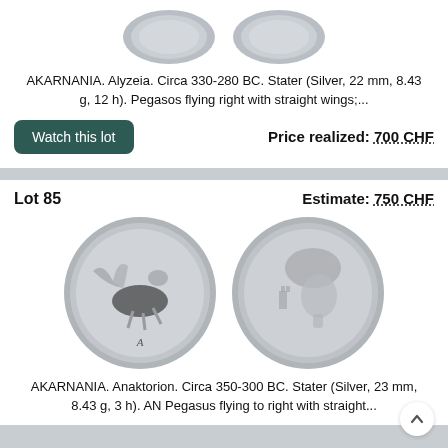[Figure (photo): Two ancient silver coins shown from above (cropped, partial view) — obverse images of Greek coins]
AKARNANIA. Alyzeia. Circa 330-280 BC. Stater (Silver, 22 mm, 8.43 g, 12 h). Pegasos flying right with straight wings;...
Watch this lot
Price realized: 700 CHF
Lot 85
Estimate: 750 CHF
[Figure (photo): Two ancient Greek silver coins: left coin shows Pegasus flying right with letter A below, right coin shows helmeted head of Athena facing right with tower symbol]
AKARNANIA. Anaktorion. Circa 350-300 BC. Stater (Silver, 23 mm, 8.43 g, 3 h). AN Pegasus flying to right with straight...